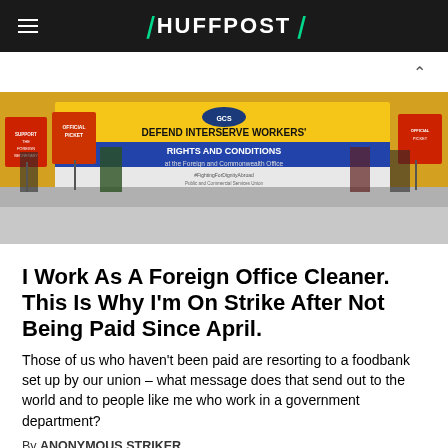HUFFPOST
[Figure (photo): Protesters holding strike placards and a large yellow and blue banner reading 'DEFEND INTERSERVE WORKERS' RIGHTS AND CONDITIONS at the Foreign and Commonwealth Office' - Public and Commercial Services Union]
I Work As A Foreign Office Cleaner. This Is Why I'm On Strike After Not Being Paid Since April.
Those of us who haven't been paid are resorting to a foodbank set up by our union – what message does that send out to the world and to people like me who work in a government department?
By ANONYMOUS STRIKER